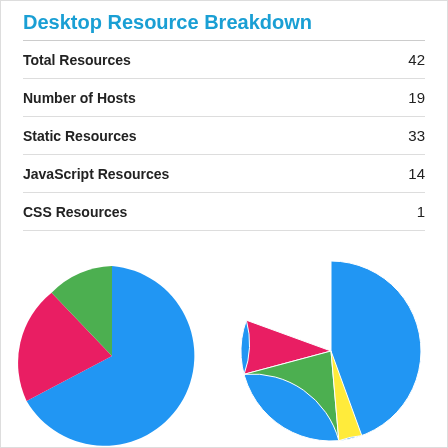Desktop Resource Breakdown
| Metric | Value |
| --- | --- |
| Total Resources | 42 |
| Number of Hosts | 19 |
| Static Resources | 33 |
| JavaScript Resources | 14 |
| CSS Resources | 1 |
[Figure (pie-chart): Desktop Resource Breakdown]